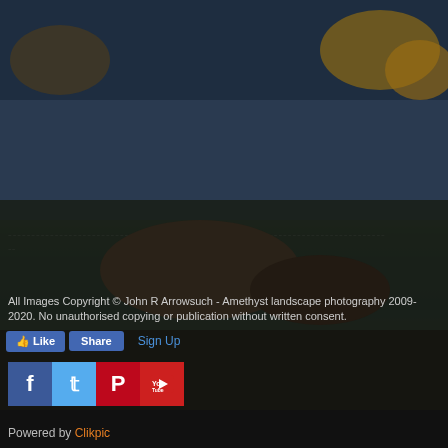For telephone orders by credit or debit card please telephone my Office on; 0121 500 6381 or my Mobile phone number; 07941 903799.
Each "limited edition" photograph has its own limited edition number from 1 - 250 and is titled and signed on the front. Canvas images are numbered and signed on the back.
The sizes given for each photograph are approximate within 10 mm or half an inch. Amethyst reserves the right to make changes to any specification of images and sizes without notice.
If for any reason you are not completely satisfied with your purchase, you may post back within 7 days of receiving your purchase to obtain a full refund (less the postage). Unfortunately, we cannot give refunds for canvases due to these being a handmade custom item, but please e-mail me for advice.
--
[Figure (photo): Dark moody landscape photograph with autumn trees against a blue-grey sky, rocky foreground]
All Images Copyright © John R Arrowsuch - Amethyst landscape photography 2009-2020. No unauthorised copying or publication without written consent.
Like  Share  Sign Up
[Figure (logo): Social media icons: Facebook, Twitter, Pinterest, YouTube]
Powered by Clikpic